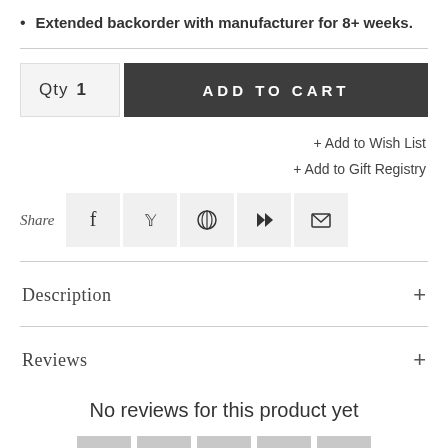Extended backorder with manufacturer for 8+ weeks.
Qty  1
ADD TO CART
+ Add to Wish List
+ Add to Gift Registry
Share
Description
Reviews
No reviews for this product yet